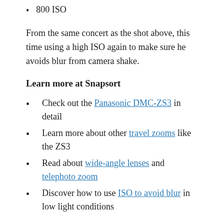800 ISO
From the same concert as the shot above, this time using a high ISO again to make sure he avoids blur from camera shake.
Learn more at Snapsort
Check out the Panasonic DMC-ZS3 in detail
Learn more about other travel zooms like the ZS3
Read about wide-angle lenses and telephoto zoom
Discover how to use ISO to avoid blur in low light conditions